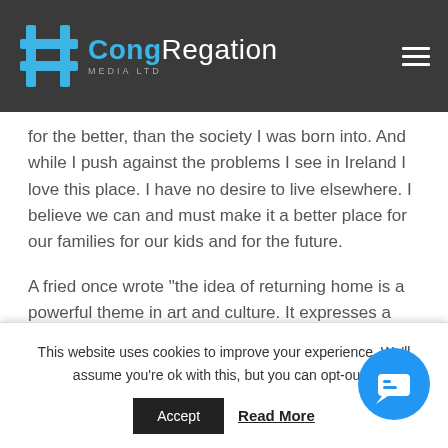CongRegation MEDIA LTD
for the better, than the society I was born into. And while I push against the problems I see in Ireland I love this place. I have no desire to live elsewhere. I believe we can and must make it a better place for our families for our kids and for the future.
A fried once wrote “the idea of returning home is a powerful theme in art and culture. It expresses a sense of security and belonging that we all desire in times of turmoil or change. Home can be many things: a home country, city county, town or street, a
This website uses cookies to improve your experience. We'll assume you're ok with this, but you can opt-out if
Accept
Read More